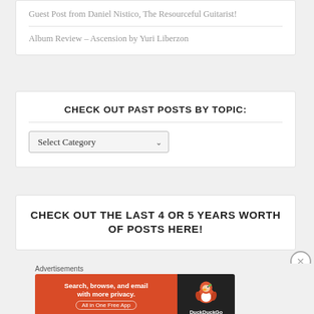Guest Post from Daniel Nistico, The Resourceful Guitarist!
Album Review – Ascension by Yuri Liberzon
CHECK OUT PAST POSTS BY TOPIC:
[Figure (screenshot): Dropdown select box labeled 'Select Category' with a down-arrow chevron]
CHECK OUT THE LAST 4 OR 5 YEARS WORTH OF POSTS HERE!
Advertisements
[Figure (illustration): DuckDuckGo advertisement banner: orange left side with text 'Search, browse, and email with more privacy. All in One Free App', dark right side with DuckDuckGo duck logo]